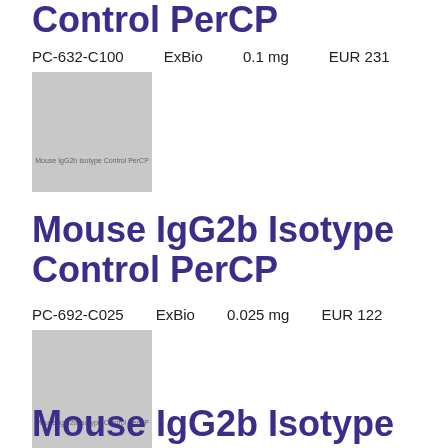Control PerCP
PC-632-C100    ExBio    0.1 mg    EUR 231
[Figure (photo): Product image placeholder for Mouse IgG2b Isotype Control PerCP]
Mouse IgG2b Isotype Control PerCP
PC-692-C025    ExBio    0.025 mg    EUR 122
[Figure (photo): Product image placeholder for Mouse IgG2b Isotype Control PerCP]
Mouse IgG2b Isotype